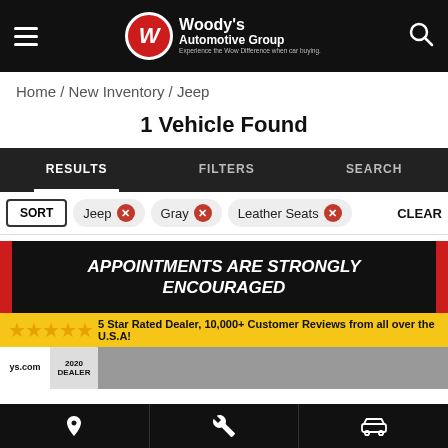Woody's Automotive Group — Experience the Wow Difference when car buying.
Home / New Inventory / Jeep
1 Vehicle Found
RESULTS   FILTERS   SEARCH
SORT  Jeep ×  Gray ×  Leather Seats ×  CLEAR
[Figure (infographic): Dark banner with red side borders reading: APPOINTMENTS ARE STRONGLY ENCOURAGED in white italic bold uppercase text]
[Figure (infographic): Yellow banner with gold stars and text: 5 Star Rated Dealer, 10,000+ Customer Reviews from all over the U.S.A!]
[Figure (photo): Partial inventory listing showing ys.com logo, 2020 DEALER badge, and partial view of a gray Jeep vehicle]
Navigation bar with location, wrench/service, and car icons